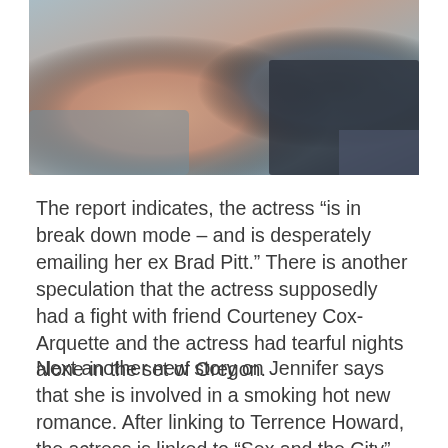[Figure (photo): Partial photo of a woman in a dark top, appearing to be seated, with a teal/blue background visible]
The report indicates, the actress “is in break down mode – and is desperately emailing her ex Brad Pitt.” There is another speculation that the actress supposedly had a fight with friend Courteney Cox-Arquette and the actress had tearful nights alone in the set of Oregon.
Next another new story on Jennifer says that she is involved in a smoking hot new romance. After linking to Terrence Howard, the actress is linked to “Sex and the City”